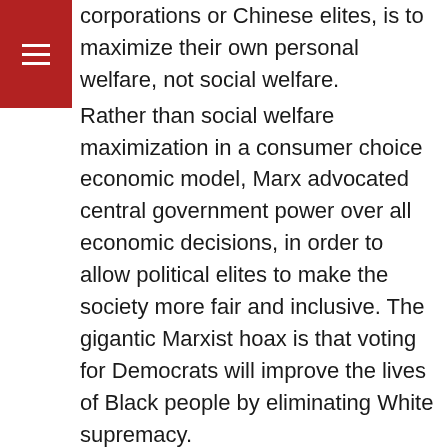[Figure (other): Red hamburger menu button in top-left corner]
corporations or Chinese elites, is to maximize their own personal welfare, not social welfare. Rather than social welfare maximization in a consumer choice economic model, Marx advocated central government power over all economic decisions, in order to allow political elites to make the society more fair and inclusive. The gigantic Marxist hoax is that voting for Democrats will improve the lives of Black people by eliminating White supremacy. In reality, the Democrat Marxists seek to improve their own lives, as the example of Patrisse Cullors buying four houses with BLM donations, vividly demonstrates. Our podcast today is the introduction to a much